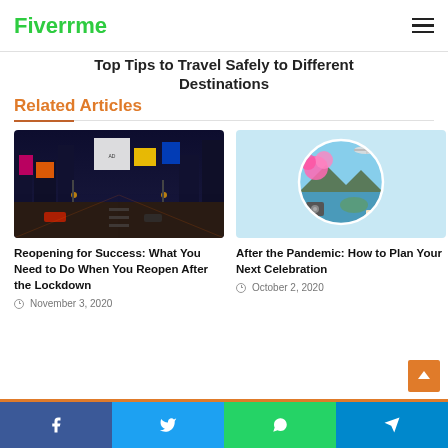Fiverrme
Top Tips to Travel Safely to Different Destinations
Related Articles
[Figure (photo): Night city street photo - Times Square-like scene with illuminated billboards]
Reopening for Success: What You Need to Do When You Reopen After the Lockdown
November 3, 2020
[Figure (photo): Travel collage in circular frame - showing flowers, airplane, mountains, beach on light blue background]
After the Pandemic: How to Plan Your Next Celebration
October 2, 2020